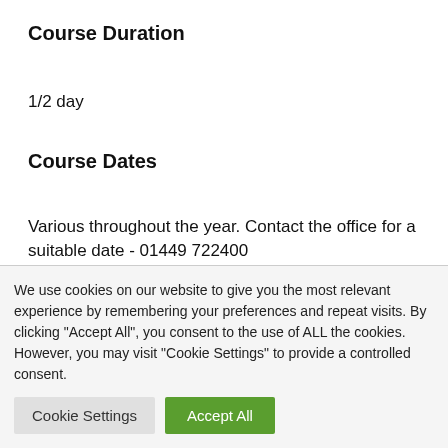Course Duration
1/2 day
Course Dates
Various throughout the year. Contact the office for a suitable date - 01449 722400
Examination Date
We use cookies on our website to give you the most relevant experience by remembering your preferences and repeat visits. By clicking "Accept All", you consent to the use of ALL the cookies. However, you may visit "Cookie Settings" to provide a controlled consent.